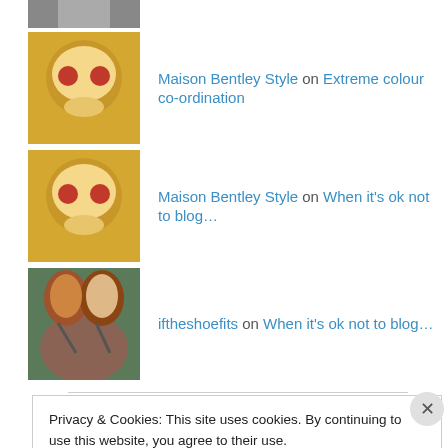Maison Bentley Style on Extreme colour co-ordination
Maison Bentley Style on When it's ok not to blog…
iftheshoefits on When it's ok not to blog…
Margaret Ross on When it's ok not to blog…
Privacy & Cookies: This site uses cookies. By continuing to use this website, you agree to their use.
To find out more, including how to control cookies, see here: Cookie Policy